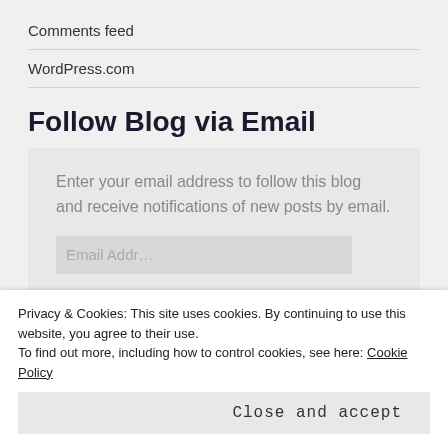Comments feed
WordPress.com
Follow Blog via Email
Enter your email address to follow this blog and receive notifications of new posts by email.
Privacy & Cookies: This site uses cookies. By continuing to use this website, you agree to their use.
To find out more, including how to control cookies, see here: Cookie Policy
Close and accept